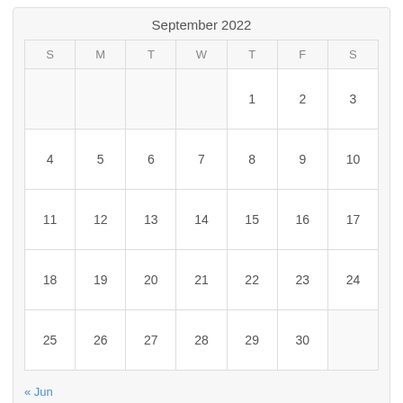September 2022
| S | M | T | W | T | F | S |
| --- | --- | --- | --- | --- | --- | --- |
|  |  |  |  | 1 | 2 | 3 |
| 4 | 5 | 6 | 7 | 8 | 9 | 10 |
| 11 | 12 | 13 | 14 | 15 | 16 | 17 |
| 18 | 19 | 20 | 21 | 22 | 23 | 24 |
| 25 | 26 | 27 | 28 | 29 | 30 |  |
« Jun
Meta